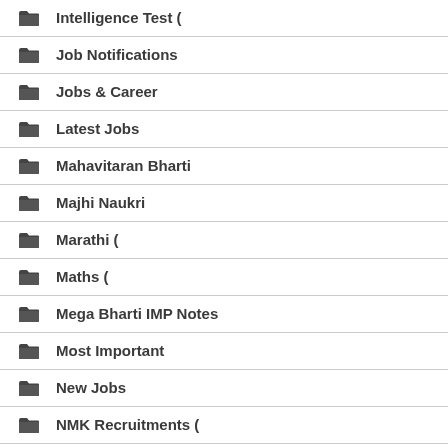Intelligence Test (
Job Notifications
Jobs & Career
Latest Jobs
Mahavitaran Bharti
Majhi Naukri
Marathi (
Maths (
Mega Bharti IMP Notes
Most Important
New Jobs
NMK Recruitments (